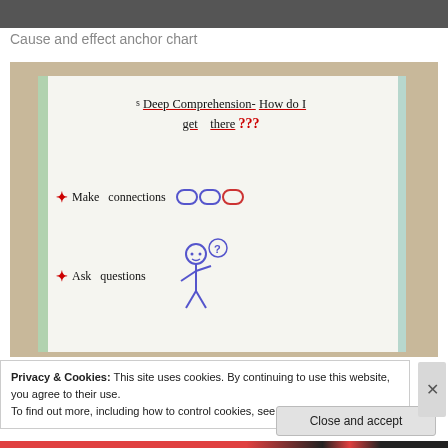[Figure (photo): Top portion of a photograph, partially cropped at the top of the page]
Cause and effect anchor chart
[Figure (photo): Photograph of a whiteboard anchor chart titled 'Deep Comprehension- How do I get there???' with bullet points: Make connections, Ask questions. A stick figure drawing with a question mark is visible.]
Privacy & Cookies: This site uses cookies. By continuing to use this website, you agree to their use.
To find out more, including how to control cookies, see here: Cookie Policy
Close and accept